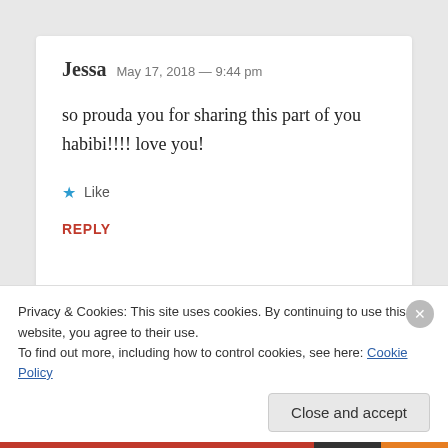Jessa  May 17, 2018 — 9:44 pm
so prouda you for sharing this part of you habibi!!!! love you!
★ Like
REPLY
Privacy & Cookies: This site uses cookies. By continuing to use this website, you agree to their use.
To find out more, including how to control cookies, see here: Cookie Policy
Close and accept